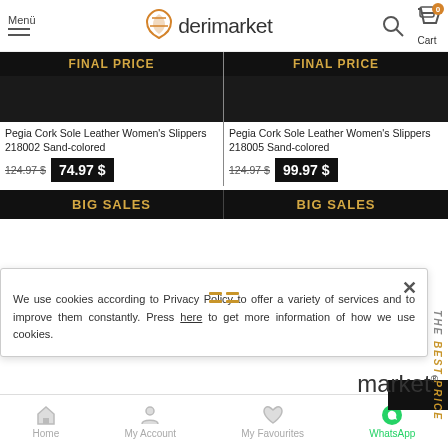derimarket - Menü, Cart (0)
FINAL PRICE
Pegia Cork Sole Leather Women's Slippers 218002 Sand-colored
124.97 $ — 74.97 $
FINAL PRICE
Pegia Cork Sole Leather Women's Slippers 218005 Sand-colored
124.97 $ — 99.97 $
BIG SALES
BIG SALES
We use cookies according to Privacy Policy to offer a variety of services and to improve them constantly. Press here to get more information of how we use cookies.
Home | My Account | My Favourites | WhatsApp